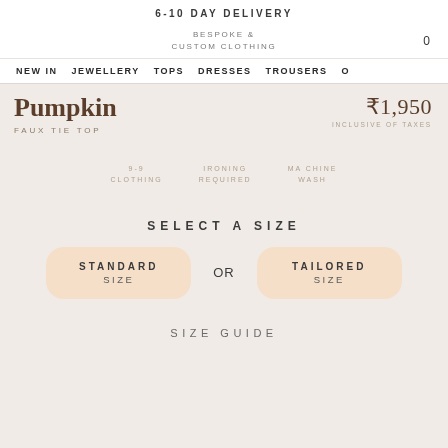6-10 DAY DELIVERY
BESPOKE & CUSTOM CLOTHING
NEW IN  JEWELLERY  TOPS  DRESSES  TROUSERS  O
Pumpkin
FAUX TIE TOP
₹1,950
INCLUSIVE OF TAXES
9-9 CLOTHING
IRONING REQUIRED
MACHINE WASH
SELECT A SIZE
STANDARD SIZE
OR
TAILORED SIZE
SIZE GUIDE